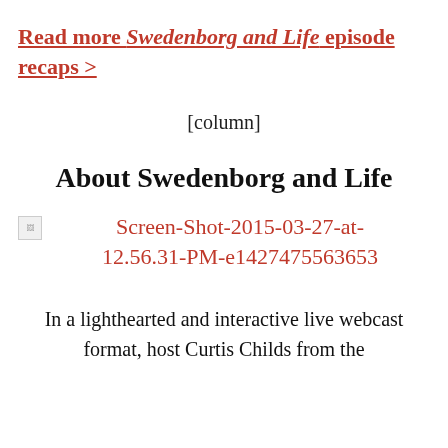Read more Swedenborg and Life episode recaps >
[column]
About Swedenborg and Life
[Figure (other): Broken image placeholder with filename: Screen-Shot-2015-03-27-at-12.56.31-PM-e1427475563653]
In a lighthearted and interactive live webcast format, host Curtis Childs from the